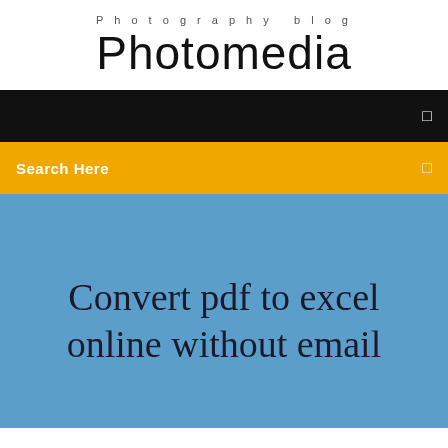Photography blog
Photomedia
[Figure (screenshot): Black navigation bar with a small square icon on the right]
Search Here
Convert pdf to excel online without email